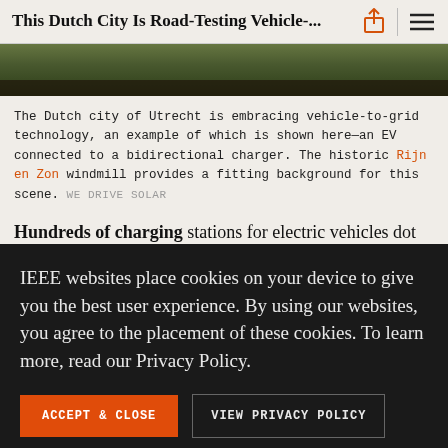This Dutch City Is Road-Testing Vehicle-...
[Figure (photo): Photo strip showing top of a car and foliage background]
The Dutch city of Utrecht is embracing vehicle-to-grid technology, an example of which is shown here—an EV connected to a bidirectional charger. The historic Rijn en Zon windmill provides a fitting background for this scene. WE DRIVE SOLAR
Hundreds of charging stations for electric vehicles dot
IEEE websites place cookies on your device to give you the best user experience. By using our websites, you agree to the placement of these cookies. To learn more, read our Privacy Policy.
ACCEPT & CLOSE
VIEW PRIVACY POLICY